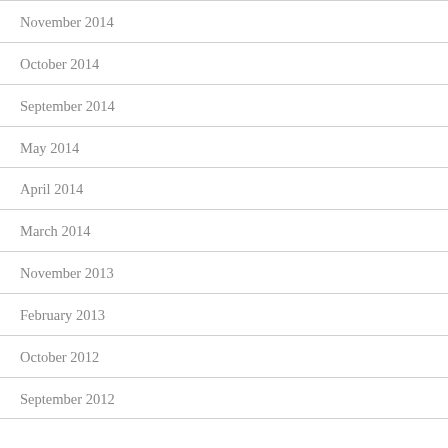November 2014
October 2014
September 2014
May 2014
April 2014
March 2014
November 2013
February 2013
October 2012
September 2012